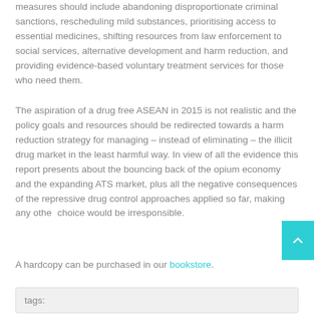measures should include abandoning disproportionate criminal sanctions, rescheduling mild substances, prioritising access to essential medicines, shifting resources from law enforcement to social services, alternative development and harm reduction, and providing evidence-based voluntary treatment services for those who need them.
The aspiration of a drug free ASEAN in 2015 is not realistic and the policy goals and resources should be redirected towards a harm reduction strategy for managing – instead of eliminating – the illicit drug market in the least harmful way. In view of all the evidence this report presents about the bouncing back of the opium economy and the expanding ATS market, plus all the negative consequences of the repressive drug control approaches applied so far, making any other choice would be irresponsible.
A hardcopy can be purchased in our bookstore.
tags: